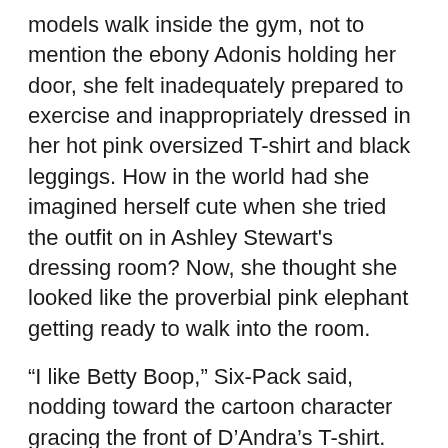models walk inside the gym, not to mention the ebony Adonis holding her door, she felt inadequately prepared to exercise and inappropriately dressed in her hot pink oversized T-shirt and black leggings. How in the world had she imagined herself cute when she tried the outfit on in Ashley Stewart's dressing room? Now, she thought she looked like the proverbial pink elephant getting ready to walk into the room.
“I like Betty Boop,” Six-Pack said, nodding toward the cartoon character gracing the front of D’Andra’s T-shirt. “That color looks good on you.”
D’Andra exited the car but made no move toward the gym. “Thanks,” she answered, convinced he had said that just to be nice.
Still, she became self-conscious of how Betty rose and fell with her 42DDs every time she took a breath, which was more often than normal since the man in front of her was taking her very breath away. This fine specimen was definitely not good for her blood pressure. D’Andra